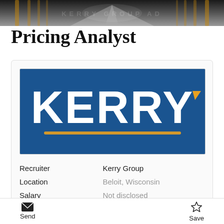[Figure (photo): Header banner image showing a corridor or stadium with golden/amber lights, dark and blurred background, decorative]
Pricing Analyst
[Figure (logo): Kerry Group company logo: white bold text 'KERRY' with a yellow/gold chevron accent mark and golden underline on a dark blue background]
|  |  |
| --- | --- |
| Recruiter | Kerry Group |
| Location | Beloit, Wisconsin |
| Salary | Not disclosed |
Send   Save